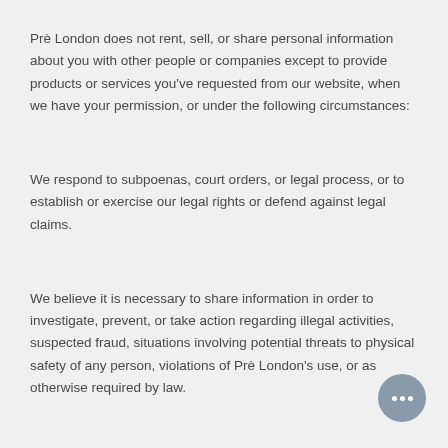Prè London does not rent, sell, or share personal information about you with other people or companies except to provide products or services you've requested from our website, when we have your permission, or under the following circumstances:
We respond to subpoenas, court orders, or legal process, or to establish or exercise our legal rights or defend against legal claims.
We believe it is necessary to share information in order to investigate, prevent, or take action regarding illegal activities, suspected fraud, situations involving potential threats to physical safety of any person, violations of Prè London's use, or as otherwise required by law.